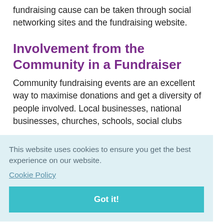fundraising cause can be taken through social networking sites and the fundraising website.
Involvement from the Community in a Fundraiser
Community fundraising events are an excellent way to maximise donations and get a diversity of people involved. Local businesses, national businesses, churches, schools, social clubs
This website uses cookies to ensure you get the best experience on our website.
Cookie Policy
Got it!
that is a ity ses
involved should also mean inexpensive